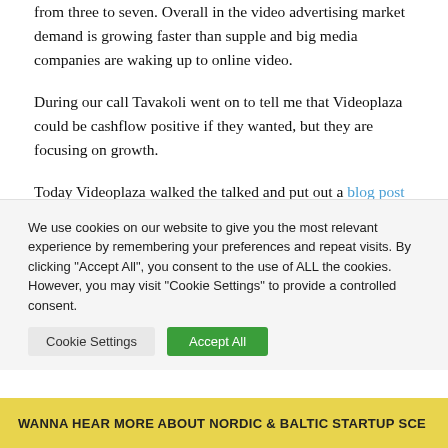from three to seven. Overall in the video advertising market demand is growing faster than supple and big media companies are waking up to online video.
During our call Tavakoli went on to tell me that Videoplaza could be cashflow positive if they wanted, but they are focusing on growth.
Today Videoplaza walked the talked and put out a blog post where they are looking for no less than 10(!) new employees to recruit before the end of Q1 2010. This is no small
We use cookies on our website to give you the most relevant experience by remembering your preferences and repeat visits. By clicking "Accept All", you consent to the use of ALL the cookies. However, you may visit "Cookie Settings" to provide a controlled consent.
WANNA HEAR MORE ABOUT NORDIC & BALTIC STARTUP SCE